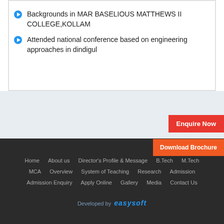Backgrounds in MAR BASELIOUS MATTHEWS II COLLEGE,KOLLAM
Attended national conference based on engineering approaches in dindigul
Enquire Now
Download Brochure
Home   About us   Director's Profile & Message   B.Tech   M.Tech   MCA   Overview   System of Teaching   Research   Admission   Admission Enquiry   Apply Online   Gallery   Media   Contact Us
Developed by easysoft